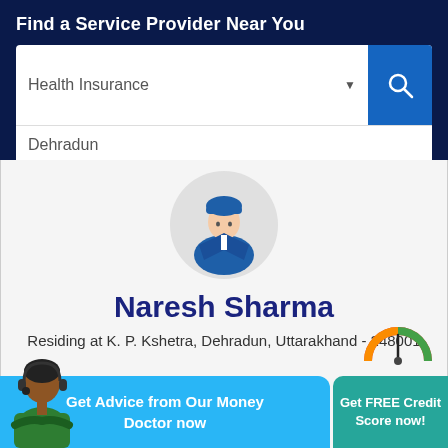Find a Service Provider Near You
Health Insurance
Dehradun
[Figure (illustration): Circular avatar of a business person wearing a blue suit, yellow tie, and blue turban on a light gray circle background]
Naresh Sharma
Residing at K. P. Kshetra, Dehradun, Uttarakhand - 248001
Get Advice from Our Money Doctor now
Get FREE Credit Score now!